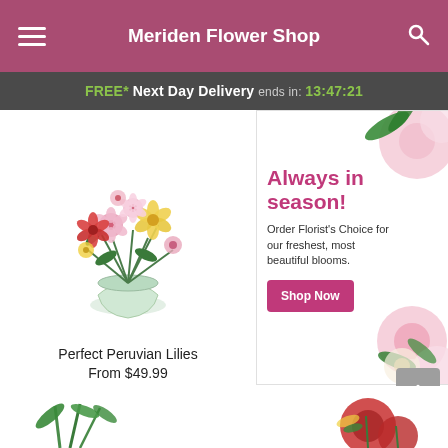Meriden Flower Shop
FREE* Next Day Delivery ends in: 13:47:21
[Figure (photo): Bouquet of colorful Peruvian lilies (alstroemeria) in pink, red, and yellow in a clear glass vase]
Perfect Peruvian Lilies
From $49.99
[Figure (photo): Promotional banner: Always in season! Order Florist's Choice for our freshest, most beautiful blooms. Shop Now button. Background shows pink roses and flowers.]
[Figure (photo): Partial view of green plant stems at bottom left]
[Figure (photo): Partial view of red roses at bottom right]